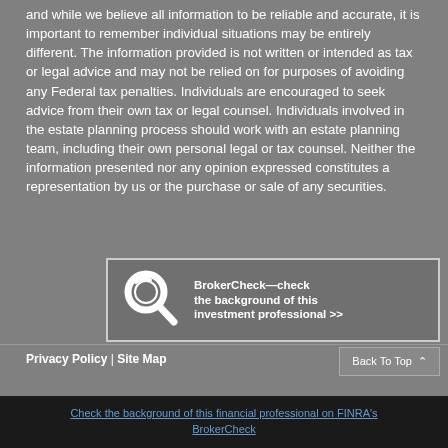and while we believe all information to be reliable and accurate, it is important to remember individual situations may be entirely different. The information provided is not written or intended as tax or legal advice and may not be relied on for purposes of avoiding any Federal tax penalties. Individuals are encouraged to seek advice from their own tax or legal counsel. Individuals involved in the estate planning process should work with an estate planning team, including their own personal legal or tax counsel. Neither the information presented nor any opinion expressed constitutes a representation by us or the purchase or sale of any securities.
[Figure (infographic): BrokerCheck banner with magnifying glass logo icon and text: BrokerCheck—check the background of this investment professional >>]
Privacy Policy | Site Map
Back To Top
Check the background of this financial professional on FINRA's BrokerCheck